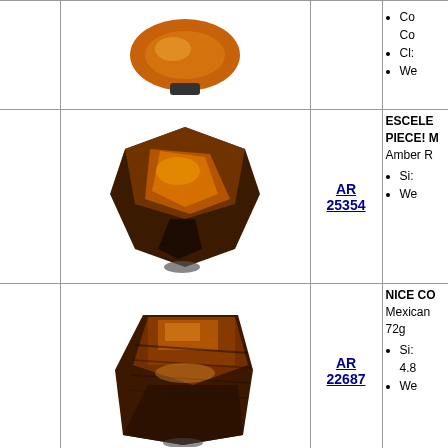| Image | ID | Description |
| --- | --- | --- |
| [amber photo] | AR 25354 | ESCELE... PIECE! M... Amber R... • Si... • We... |
| [amber photo] | AR 22687 | NICE CO... Mexican ... 72g
• Si... 4.8... • We... |
| [amber photo] | AR 25353 | FINE SLI... Amber R...
• Si... 13...
• Co... |